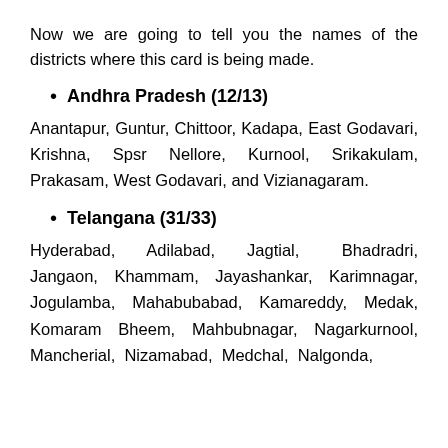Now we are going to tell you the names of the districts where this card is being made.
Andhra Pradesh (12/13)
Anantapur, Guntur, Chittoor, Kadapa, East Godavari, Krishna, Spsr Nellore, Kurnool, Srikakulam, Prakasam, West Godavari, and Vizianagaram.
Telangana (31/33)
Hyderabad, Adilabad, Jagtial, Bhadradri, Jangaon, Khammam, Jayashankar, Karimnagar, Jogulamba, Mahabubabad, Kamareddy, Medak, Komaram Bheem, Mahbubnagar, Nagarkurnool, Mancherial, Nizamabad, Medchal, Nalgonda,